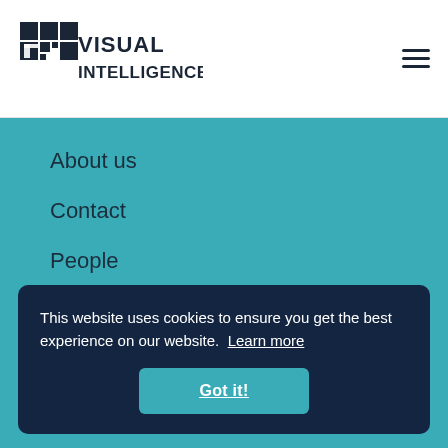[Figure (logo): Visual Intelligence logo: pixelated puzzle-piece icon in dark navy blue with text 'VISUAL INTELLIGENCE' in two lines]
About us
Contact
People
Partners
Organization
This website uses cookies to ensure you get the best experience on our website. Learn more
Got it!